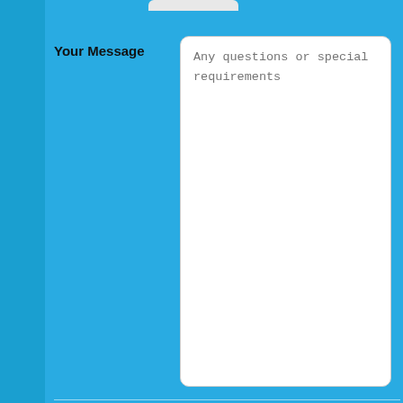Your Message
Any questions or special requirements
To help prevent automated spam, please answer this question:
* Using only numbers, what is 10 plus 15?
Submit Form